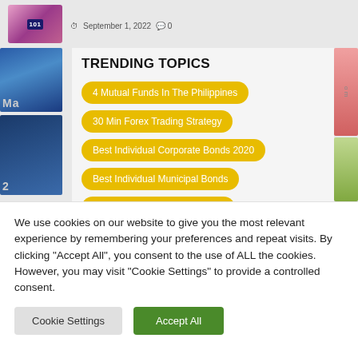September 1, 2022  0
TRENDING TOPICS
4 Mutual Funds In The Philippines
30 Min Forex Trading Strategy
Best Individual Corporate Bonds 2020
Best Individual Municipal Bonds
Buying Individual Gnma Bonds
We use cookies on our website to give you the most relevant experience by remembering your preferences and repeat visits. By clicking "Accept All", you consent to the use of ALL the cookies. However, you may visit "Cookie Settings" to provide a controlled consent.